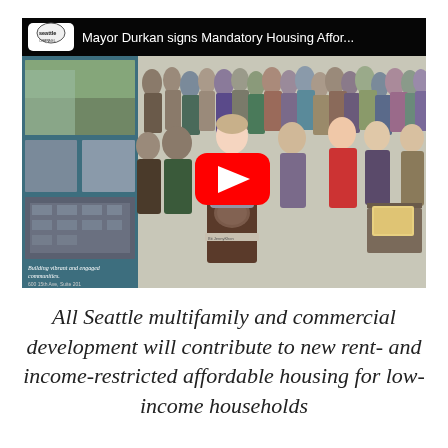[Figure (screenshot): YouTube video thumbnail showing Mayor Durkan at a podium signing Mandatory Housing Affordability legislation, surrounded by a crowd of people. A Seattle channel logo appears in the top-left corner. The video title reads 'Mayor Durkan signs Mandatory Housing Affor...' A red YouTube play button is centered over the image. A Seattle community banner is visible on the left side of the scene.]
All Seattle multifamily and commercial development will contribute to new rent- and income-restricted affordable housing for low-income households